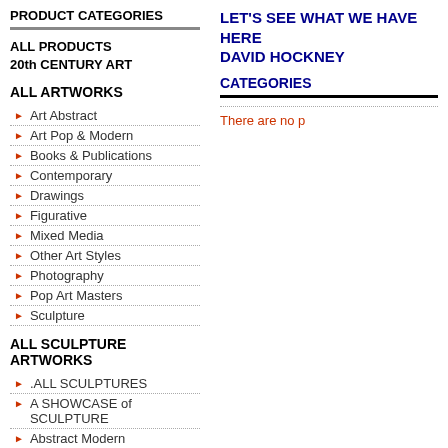PRODUCT CATEGORIES
ALL PRODUCTS
20th CENTURY ART
ALL ARTWORKS
Art Abstract
Art Pop & Modern
Books & Publications
Contemporary
Drawings
Figurative
Mixed Media
Other Art Styles
Photography
Pop Art Masters
Sculpture
ALL SCULPTURE ARTWORKS
.ALL SCULPTURES
A SHOWCASE of SCULPTURE
Abstract Modern Contemporary
African Culture
Animals & Wildlife
Architectural
Art Deco & Art Nouveau
Asian
Bronze & Metal Sculptures
LET'S SEE WHAT WE HAVE HERE
DAVID HOCKNEY
CATEGORIES
There are no p